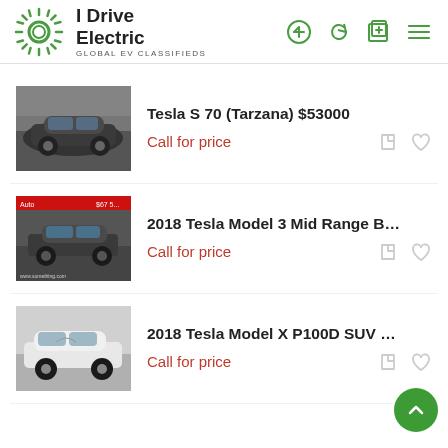I Drive Electric — GLOBAL EV CLASSIFIEDS
Tesla S 70 (Tarzana) $53000 — Call for price
2018 Tesla Model 3 Mid Range B… — Call for price
2018 Tesla Model X P100D SUV … — Call for price